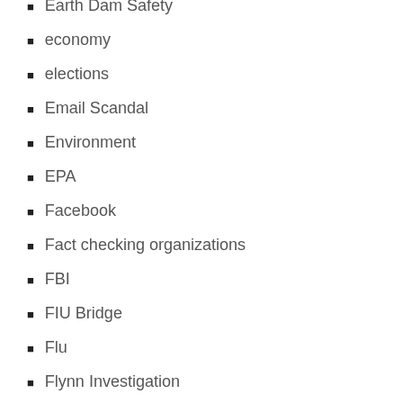Earth Dam Safety
economy
elections
Email Scandal
Environment
EPA
Facebook
Fact checking organizations
FBI
FIU Bridge
Flu
Flynn Investigation
Free Speech
Freedom of Information Act
global warming
Greenland
Health Care
Hezbollah
House Intelligence Committee
HUD
immigration
Impeachment